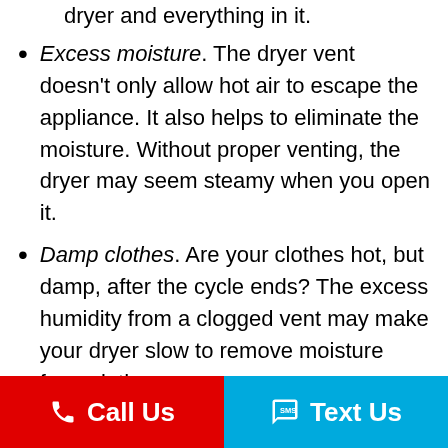Excess moisture. The dryer vent doesn't only allow hot air to escape the appliance. It also helps to eliminate the moisture. Without proper venting, the dryer may seem steamy when you open it.
Damp clothes. Are your clothes hot, but damp, after the cycle ends? The excess humidity from a clogged vent may make your dryer slow to remove moisture from clothes.
Call Us   Text Us